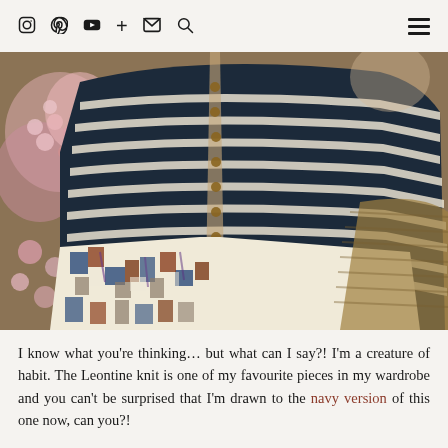Social media navigation icons and hamburger menu
[Figure (photo): Close-up photo of a person wearing a navy and white striped knit top with small buttons down the front, paired with a geometric patterned skirt in colours of blue, rust, white and brown. Pink flowers and tulips are visible in the background on a woven surface.]
I know what you’re thinking… but what can I say?! I’m a creature of habit. The Leontine knit is one of my favourite pieces in my wardrobe and you can’t be surprised that I’m drawn to the navy version of this one now, can you?!